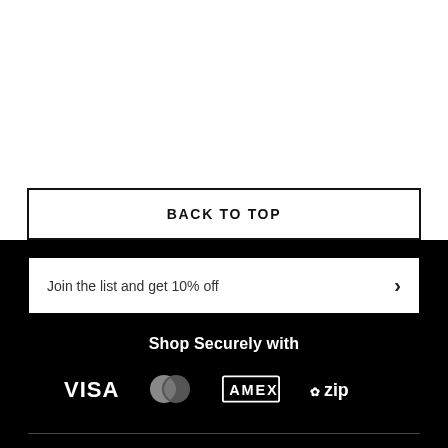BACK TO TOP
Join the list and get 10% off
Shop Securely with
[Figure (logo): Payment logos: VISA, Mastercard, AMEX, Zip displayed in white on black background]
Services +